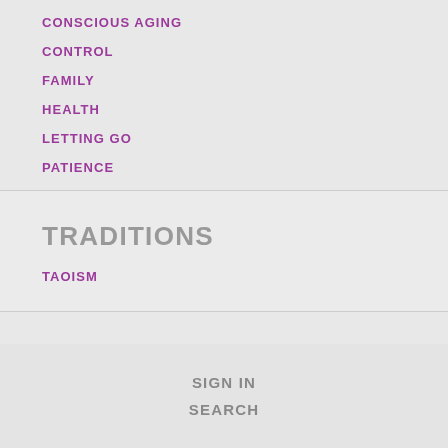CONSCIOUS AGING
CONTROL
FAMILY
HEALTH
LETTING GO
PATIENCE
TRADITIONS
TAOISM
SIGN IN
SEARCH